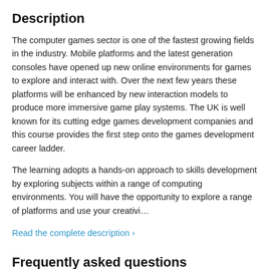Description
The computer games sector is one of the fastest growing fields in the industry. Mobile platforms and the latest generation consoles have opened up new online environments for games to explore and interact with. Over the next few years these platforms will be enhanced by new interaction models to produce more immersive game play systems. The UK is well known for its cutting edge games development companies and this course provides the first step onto the games development career ladder.
The learning adopts a hands-on approach to skills development by exploring subjects within a range of computing environments. You will have the opportunity to explore a range of platforms and use your creativi…
Read the complete description ›
Frequently asked questions